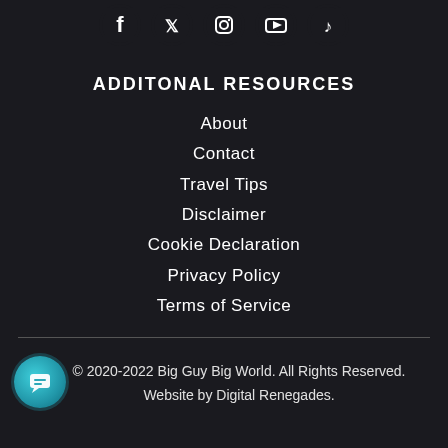[Figure (other): Row of 5 social media icons (Facebook, Twitter, Instagram, YouTube, TikTok) as white circular icons on dark background]
ADDITONAL RESOURCES
About
Contact
Travel Tips
Disclaimer
Cookie Declaration
Privacy Policy
Terms of Service
© 2020-2022 Big Guy Big World. All Rights Reserved. Website by Digital Renegades.